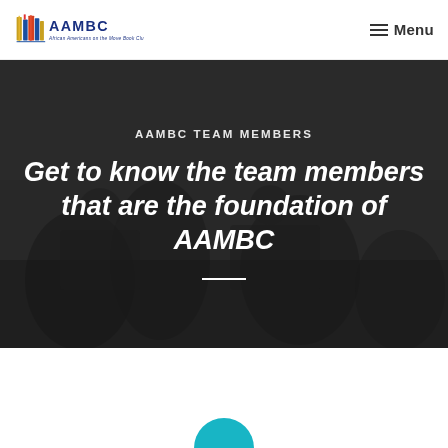[Figure (logo): AAMBC African Americans on the Move Book Club logo with colorful books icon and blue text]
Menu
[Figure (photo): Dark background photo of people gathered around, likely reading or discussing books, with a dark overlay]
AAMBC TEAM MEMBERS
Get to know the team members that are the foundation of AAMBC